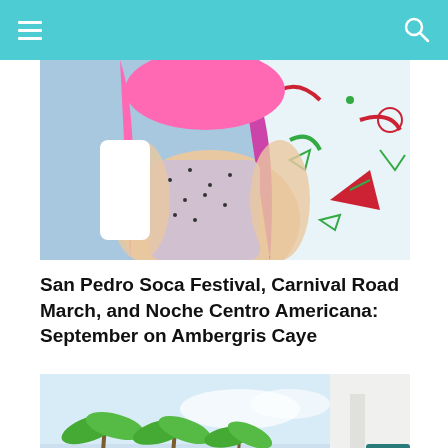Navigation header with hamburger menu and search icon
[Figure (photo): Woman with pink hair wearing a bedazzled costume at a carnival or festival, with colorful confetti and graphic elements in the background]
San Pedro Soca Festival, Carnival Road March, and Noche Centro Americana: September on Ambergris Caye
[Figure (photo): Tropical scene with palm trees and a white building/structure, blue sky in the background]